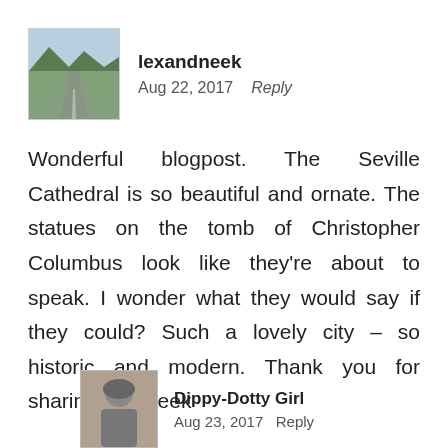[Figure (photo): Avatar photo showing an empty road stretching into mountains with green hills]
lexandneek
Aug 22, 2017   Reply
Wonderful blogpost. The Seville Cathedral is so beautiful and ornate. The statues on the tomb of Christopher Columbus look like they're about to speak. I wonder what they would say if they could? Such a lovely city – so historic and modern. Thank you for sharing it! – Neek
★ Liked by 2 people
[Figure (photo): Avatar black and white photo of a person]
Dippy-Dotty Girl
Aug 23, 2017   Reply